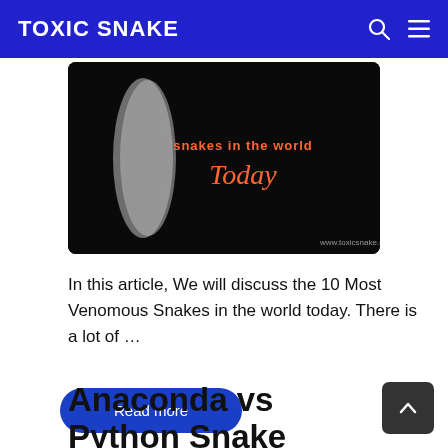TOXIC SNAKE
[Figure (photo): Thumbnail image showing a snake and text 'snakes in the world Today' with website www.toxicsnake.com on dark background]
In this article, We will discuss the 10 Most Venomous Snakes in the world today. There is a lot of …
Read more
Anaconda vs Python Snake Comparison (2022)